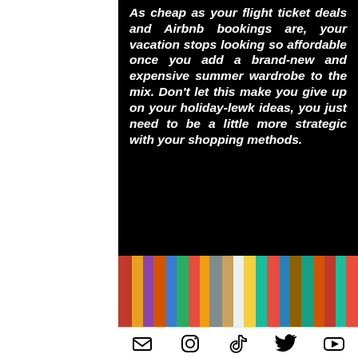As cheap as your flight ticket deals and Airbnb bookings are, your vacation stops looking so affordable once you add a brand-new and expensive summer wardrobe to the mix. Don't let this make you give up on your holiday-lewk ideas, you just need to be a little more strategic with your shopping methods.
[Figure (photo): Colorful hanging fabric/scarves in various colors including red, orange, yellow, green, blue, and teal]
[Figure (infographic): Social media icon bar with email, Instagram, TikTok, Twitter/X, and YouTube icons]